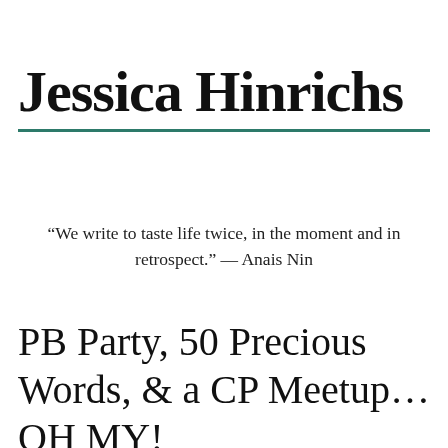Jessica Hinrichs
“We write to taste life twice, in the moment and in retrospect.” — Anais Nin
PB Party, 50 Precious Words, & a CP Meetup…OH MY!